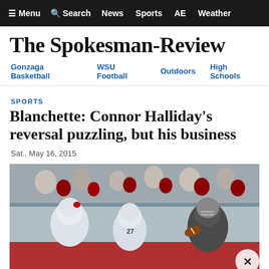≡ Menu  🔍 Search  News  Sports  AE  Weather
The Spokesman-Review
Gonzaga Basketball  WSU Football  Outdoors  High Schools
SPORTS
Blanchette: Connor Halliday's reversal puzzling, but his business
Sat., May 16, 2015
[Figure (photo): Football game photo showing a WSU quarterback in dark uniform holding a football, with opposing team players in white uniforms in the foreground, crowd visible in background bleachers]